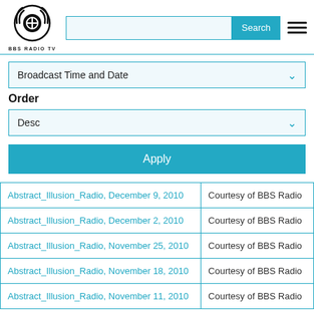[Figure (logo): BBS Radio TV logo — circular headphone/microphone icon with BBS RADIO TV text below]
Search button and hamburger menu in header
Broadcast Time and Date (dropdown)
Order
Desc (dropdown)
Apply (button)
| Show | Source |
| --- | --- |
| Abstract_Illusion_Radio, December 9, 2010 | Courtesy of BBS Radio |
| Abstract_Illusion_Radio, December 2, 2010 | Courtesy of BBS Radio |
| Abstract_Illusion_Radio, November 25, 2010 | Courtesy of BBS Radio |
| Abstract_Illusion_Radio, November 18, 2010 | Courtesy of BBS Radio |
| Abstract_Illusion_Radio, November 11, 2010 | Courtesy of BBS Radio |